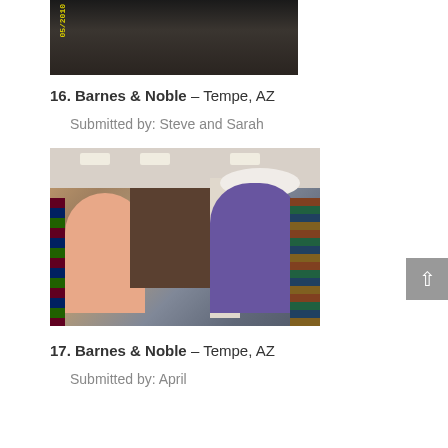[Figure (photo): Top portion of a photo taken inside a bookstore, dark interior with date stamp '05/2010' visible in yellow]
16. Barnes & Noble – Tempe, AZ
Submitted by: Steve and Sarah
[Figure (photo): Two people posing in front of a book display at Barnes & Noble in Tempe, AZ. A man in a pink shirt on the left and a woman in a purple floral dress with a white hat on the right.]
17. Barnes & Noble – Tempe, AZ
Submitted by: April